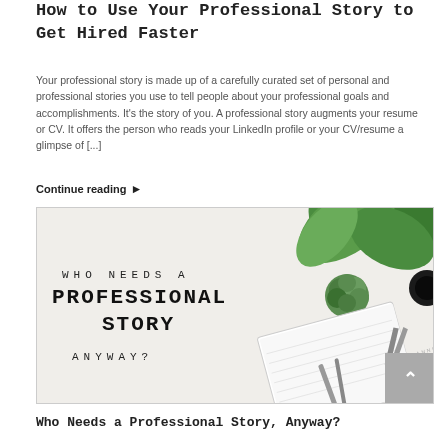How to Use Your Professional Story to Get Hired Faster
Your professional story is made up of a carefully curated set of personal and professional stories you use to tell people about your professional goals and accomplishments. It's the story of you. A professional story augments your resume or CV. It offers the person who reads your LinkedIn profile or your CV/resume a glimpse of [...]
Continue reading ▶
[Figure (illustration): Decorative image with white background and plants showing text: WHO NEEDS A PROFESSIONAL STORY ANYWAY? in typewriter font. A notebook, pens, succulent plant, and dark circle visible in the background.]
Who Needs a Professional Story, Anyway?